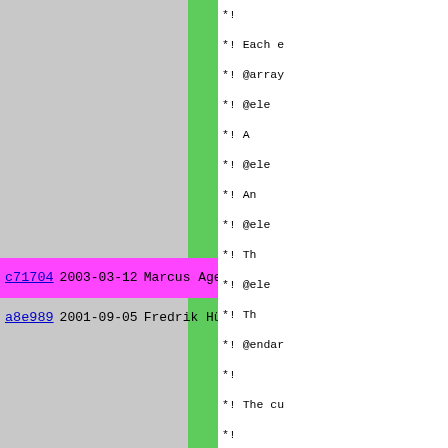[Figure (screenshot): Source code blame/annotate view showing git commit history on the left (commit hash, date, author) with color-coded rows (grey, green, pink/magenta) and code comments on the right panel. Two rows visible: c71704 (2003-03-12, Marcus Agehall) highlighted in pink, and a8e989 (2001-09-05, Fredrik Hübinette (Hubbe)) in grey. Right panel shows Pike/C code comments with @note, @seealso, @array tags and PMOD_EXPORT line.]